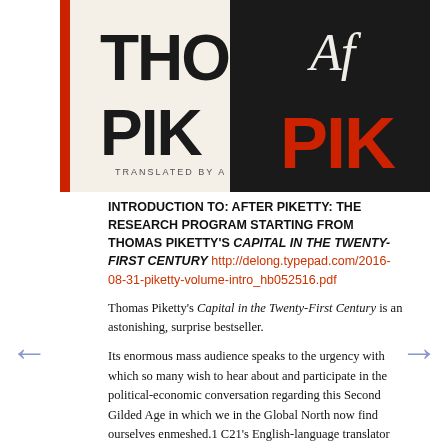[Figure (photo): Book covers showing 'Thomas Piketty' (THO, PIK visible) on a cream/white cover with red spine and a black cover with red PIK text and italic Af text]
INTRODUCTION TO: AFTER PIKETTY: THE RESEARCH PROGRAM STARTING FROM THOMAS PIKETTY'S CAPITAL IN THE TWENTY-FIRST CENTURY http://delong.typepad.com/2016-08-31-piketty-volume-intro_hb052516.pdf
Thomas Piketty's Capital in the Twenty-First Century is an astonishing, surprise bestseller.
Its enormous mass audience speaks to the urgency with which so many wish to hear about and participate in the political-economic conversation regarding this Second Gilded Age in which we in the Global North now find ourselves enmeshed.1 C21's English-language translator Art Goldhammer reports (this volume) that there are now 2.2 million copies of the book scattered around the globe in 30 different languages. Those 2.2